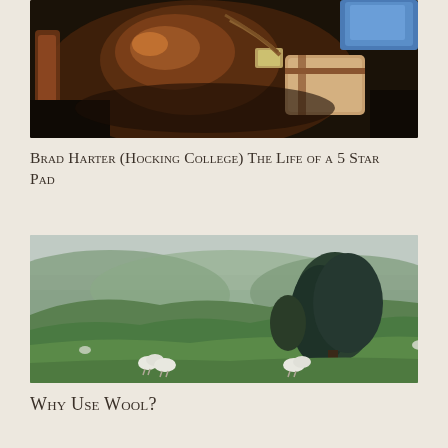[Figure (photo): Close-up photo of a leather horse saddle with straps and a blue item visible, on a dark horse coat]
Brad Harter (Hocking College) The Life of a 5 Star Pad
[Figure (photo): Panoramic landscape photo of rolling green hills with sheep grazing and large trees in the background under an overcast sky]
Why Use Wool?